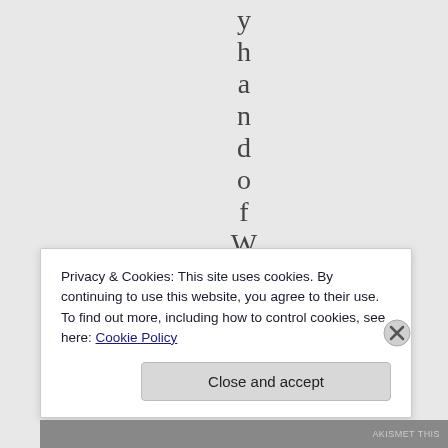y h a n d o f W a t
Privacy & Cookies: This site uses cookies. By continuing to use this website, you agree to their use.
To find out more, including how to control cookies, see here: Cookie Policy
Close and accept